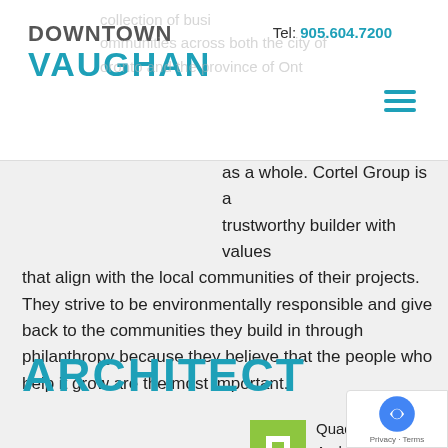[Figure (logo): Downtown Vaughan logo with teal VAUGHAN text]
Tel: 905.604.7200
as a whole. Cortel Group is a trustworthy builder with values that align with the local communities of their projects. They strive to be environmentally responsible and give back to the communities they build in through philanthropy because they believe that the people who help it grow are the most important.
ARCHITECT
[Figure (logo): Quadrangle Architects Ltd green square logo]
Quadr... Archi... Ltd. Has...
Quadrangle